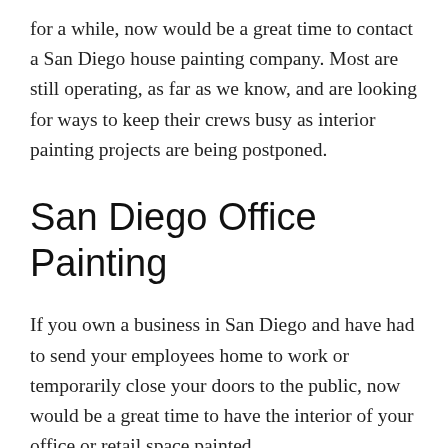for a while, now would be a great time to contact a San Diego house painting company. Most are still operating, as far as we know, and are looking for ways to keep their crews busy as interior painting projects are being postponed.
San Diego Office Painting
If you own a business in San Diego and have had to send your employees home to work or temporarily close your doors to the public, now would be a great time to have the interior of your office or retail space painted.